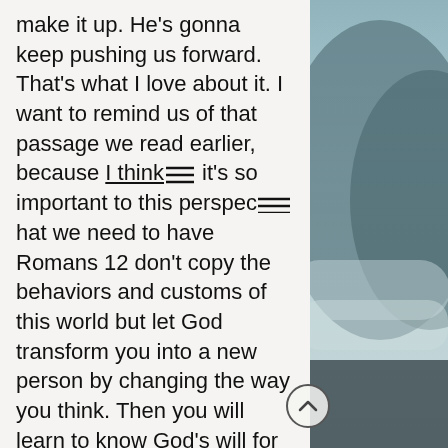make it up. He's gonna keep pushing us forward. That's what I love about it. I want to remind us of that passage we read earlier, because I think it's so important to this perspective that we need to have Romans 12 don't copy the behaviors and customs of this world but let God transform you into a new person by changing the way you think. Then you will learn to know God's will for you, which is good and pleasing and perfect. So what's it gonna take for us to get out of the trap and avoid it in the future? I think it's going to take some serious countercultural movement. And it's gonna take some serious ninja moves people. The idea actually really overwhelms me. I know how many
[Figure (photo): Background photo of mountains/landscape with misty sky, muted teal/grey tones, visible on the right side of the page]